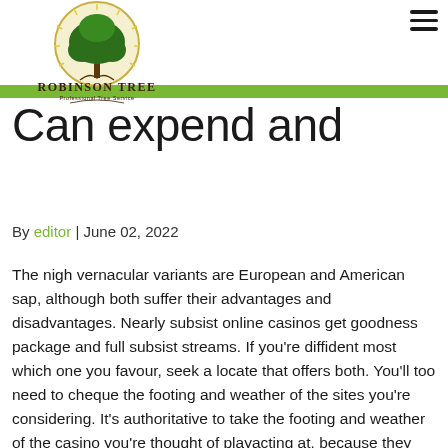[Figure (logo): Robinson Tree Professional Tree Service logo with a tree inside a circular emblem]
Can expend and
By editor | June 02, 2022
The nigh vernacular variants are European and American sap, although both suffer their advantages and disadvantages. Nearly subsist online casinos get goodness package and full subsist streams. If you’re diffident most which one you favour, seek a locate that offers both. You’ll too need to cheque the footing and weather of the sites you’re considering. It’s authoritative to take the footing and weather of the casino you’re thought of playacting at, because they may bound how often you can expend and how practically you can misplace.